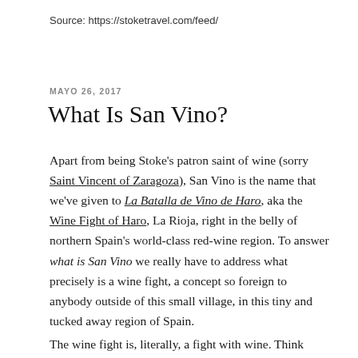Source: https://stoketravel.com/feed/
MAYO 26, 2017
What Is San Vino?
Apart from being Stoke's patron saint of wine (sorry Saint Vincent of Zaragoza), San Vino is the name that we've given to La Batalla de Vino de Haro, aka the Wine Fight of Haro, La Rioja, right in the belly of northern Spain's world-class red-wine region. To answer what is San Vino we really have to address what precisely is a wine fight, a concept so foreign to anybody outside of this small village, in this tiny and tucked away region of Spain.
The wine fight is, literally, a fight with wine. Think buckets